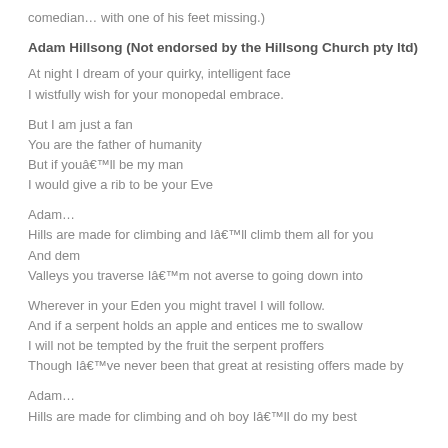comedian… with one of his feet missing.)
Adam Hillsong (Not endorsed by the Hillsong Church pty ltd)
At night I dream of your quirky, intelligent face
I wistfully wish for your monopedal embrace.
But I am just a fan
You are the father of humanity
But if youâ€™ll be my man
I would give a rib to be your Eve
Adam…
Hills are made for climbing and Iâ€™ll climb them all for you
And dem
Valleys you traverse Iâ€™m not averse to going down into
Wherever in your Eden you might travel I will follow.
And if a serpent holds an apple and entices me to swallow
I will not be tempted by the fruit the serpent proffers
Though Iâ€™ve never been that great at resisting offers made by
Adam…
Hills are made for climbing and oh boy Iâ€™ll do my best